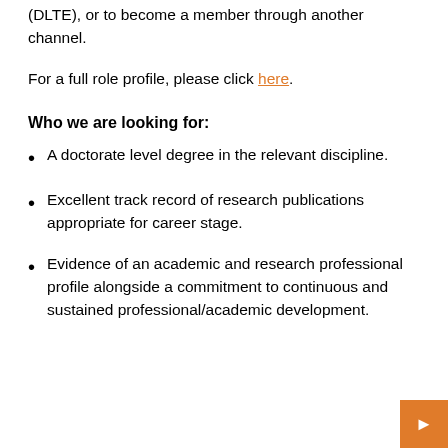(DLTE), or to become a member through another channel.
For a full role profile, please click here.
Who we are looking for:
A doctorate level degree in the relevant discipline.
Excellent track record of research publications appropriate for career stage.
Evidence of an academic and research professional profile alongside a commitment to continuous and sustained professional/academic development.